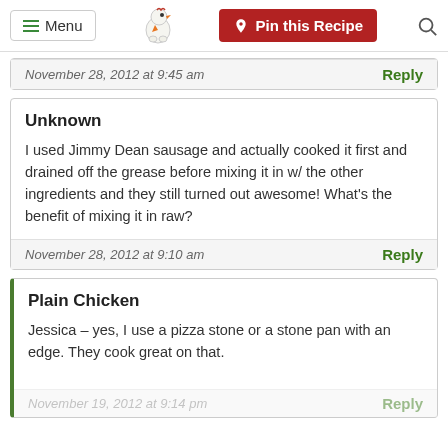Menu | Pin this Recipe
November 28, 2012 at 9:45 am | Reply
Unknown
I used Jimmy Dean sausage and actually cooked it first and drained off the grease before mixing it in w/ the other ingredients and they still turned out awesome! What's the benefit of mixing it in raw?
November 28, 2012 at 9:10 am | Reply
Plain Chicken
Jessica – yes, I use a pizza stone or a stone pan with an edge. They cook great on that.
November 19, 2012 at 9:14 pm | Reply